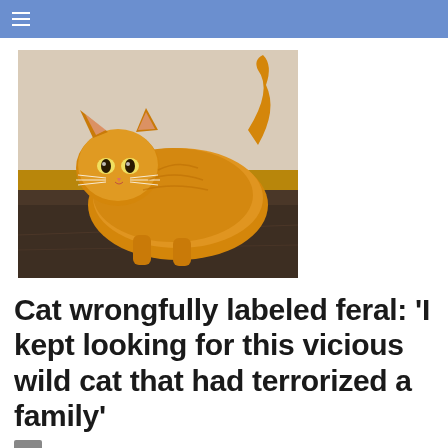≡
[Figure (photo): A fluffy orange/ginger long-haired cat standing on a dark brown leather surface, looking up at the camera with wide yellow-green eyes, against a light beige wall.]
Cat wrongfully labeled feral: 'I kept looking for this vicious wild cat that had terrorized a family'
By author thumbnail and byline text (partially visible)